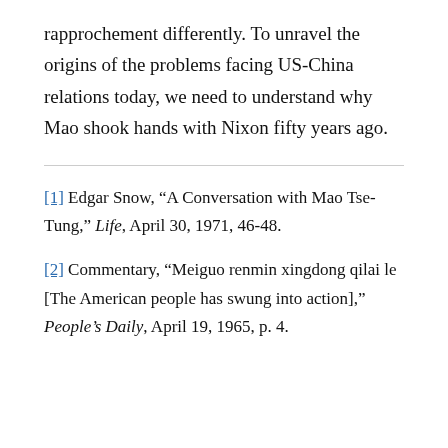rapprochement differently. To unravel the origins of the problems facing US-China relations today, we need to understand why Mao shook hands with Nixon fifty years ago.
[1] Edgar Snow, “A Conversation with Mao Tse-Tung,” Life, April 30, 1971, 46-48.
[2] Commentary, “Meiguo renmin xingdong qilai le [The American people has swung into action],” People’s Daily, April 19, 1965, p. 4.